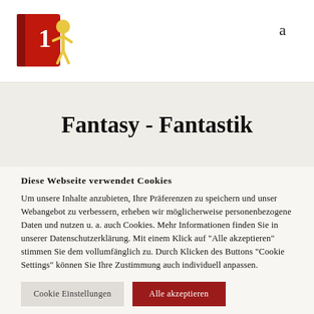a
[Figure (logo): Red book with number 1 and golden figure logo]
Fantasy - Fantastik
Diese Webseite verwendet Cookies
Um unsere Inhalte anzubieten, Ihre Präferenzen zu speichern und unser Webangebot zu verbessern, erheben wir möglicherweise personenbezogene Daten und nutzen u. a. auch Cookies. Mehr Informationen finden Sie in unserer Datenschutzerklärung. Mit einem Klick auf "Alle akzeptieren" stimmen Sie dem vollumfänglich zu. Durch Klicken des Buttons "Cookie Settings" können Sie Ihre Zustimmung auch individuell anpassen.
Cookie Einstellungen
Alle akzeptieren